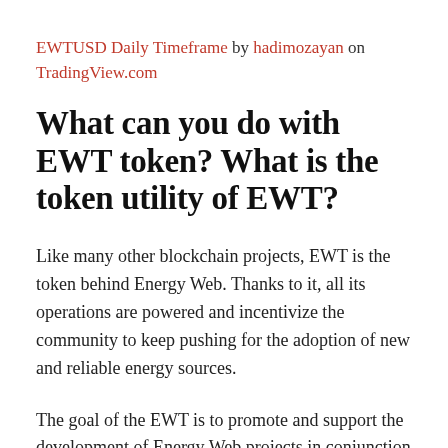EWTUSD Daily Timeframe by hadimozayan on TradingView.com
What can you do with EWT token? What is the token utility of EWT?
Like many other blockchain projects, EWT is the token behind Energy Web. Thanks to it, all its operations are powered and incentivize the community to keep pushing for the adoption of new and reliable energy sources.
The goal of the EWT is to promote and support the development of Energy Web projects in conjunction with other participants and…